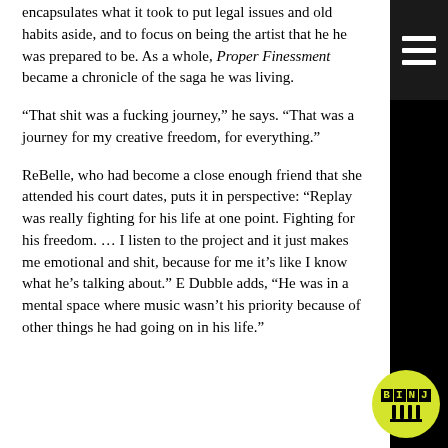encapsulates what it took to put legal issues and old habits aside, and to focus on being the artist that he he was prepared to be. As a whole, Proper Finessment became a chronicle of the saga he was living.
“That shit was a fucking journey,” he says. “That was a journey for my creative freedom, for everything.”
ReBelle, who had become a close enough friend that she attended his court dates, puts it in perspective: “Replay was really fighting for his life at one point. Fighting for his freedom. … I listen to the project and it just makes me emotional and shit, because for me it’s like I know what he’s talking about.” E Dubble adds, “He was in a mental space where music wasn’t his priority because of other things he had going on in his life.”